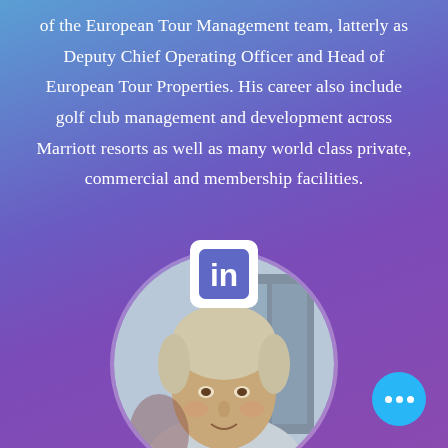of the European Tour Management team, latterly as Deputy Chief Operating Officer and Head of European Tour Properties. His career also include golf club management and development across Marriott resorts as well as many world class private, commercial and membership facilities.
[Figure (photo): LinkedIn logo icon overlaid on the text, showing a white 'in' on blue rounded square background]
[Figure (photo): Circular portrait photo of a middle-aged man with grey-blonde hair wearing a light coloured top, photographed indoors]